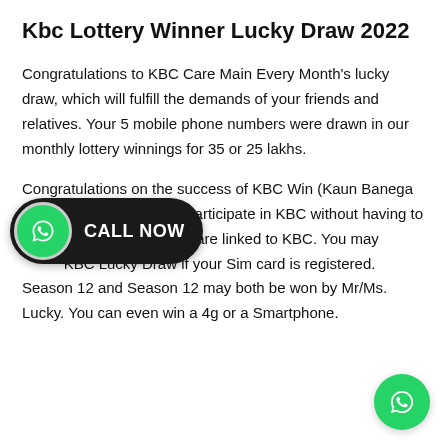Kbc Lottery Winner Lucky Draw 2022
Congratulations to KBC Care Main Every Month's lucky draw, which will fulfill the demands of your friends and relatives. Your 5 mobile phone numbers were drawn in our monthly lottery winnings for 35 or 25 lakhs.
Congratulations on the success of KBC Win (Kaun Banega Crorepati). You can now participate in KBC without having to card providers are linked to KBC. You may KBC Lucky Draw if your Sim card is registered. Season 12 and Season 12 may both be won by Mr/Ms. Lucky. You can even win a 4g or a Smartphone.
[Figure (illustration): WhatsApp CALL NOW button overlay with green WhatsApp logo icon on black pill-shaped button]
[Figure (logo): WhatsApp green circle logo icon in bottom right corner]